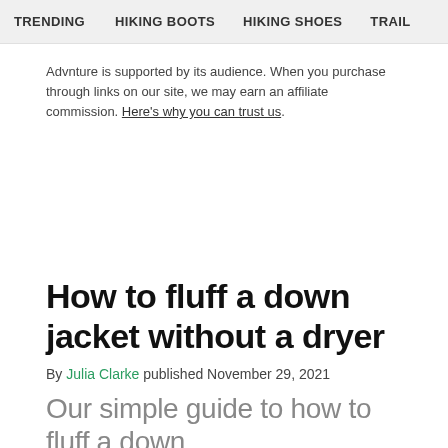TRENDING   Hiking boots   Hiking shoes   Trail
Advnture is supported by its audience. When you purchase through links on our site, we may earn an affiliate commission. Here's why you can trust us.
How to fluff a down jacket without a dryer
By Julia Clarke published November 29, 2021
Our simple guide to how to fluff a down